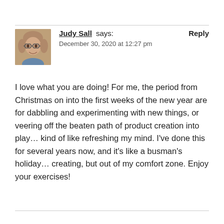[Figure (photo): Headshot photo of Judy Sall, a woman with short hair and glasses, smiling]
Judy Sall says: December 30, 2020 at 12:27 pm  Reply
I love what you are doing! For me, the period from Christmas on into the first weeks of the new year are for dabbling and experimenting with new things, or veering off the beaten path of product creation into play... kind of like refreshing my mind. I've done this for several years now, and it's like a busman's holiday... creating, but out of my comfort zone. Enjoy your exercises!